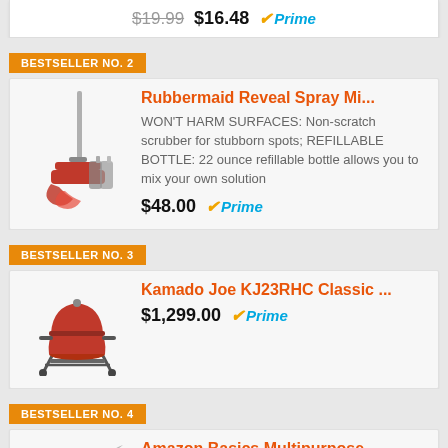$19.99  $16.48  Prime
BESTSELLER NO. 2
Rubbermaid Reveal Spray Mi...
WON'T HARM SURFACES: Non-scratch scrubber for stubborn spots; REFILLABLE BOTTLE: 22 ounce refillable bottle allows you to mix your own solution
$48.00  Prime
BESTSELLER NO. 3
Kamado Joe KJ23RHC Classic ...
$1,299.00  Prime
BESTSELLER NO. 4
Amazon Basics Multipurpose...
Soft-grip handles for comfortable